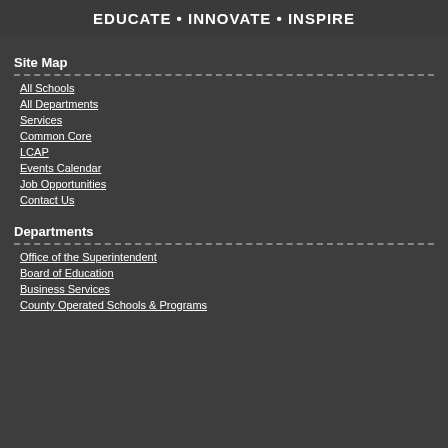EDUCATE • INNOVATE • INSPIRE
Site Map
All Schools
All Departments
Services
Common Core
LCAP
Events Calendar
Job Opportunities
Contact Us
Departments
Office of the Superintendent
Board of Education
Business Services
County Operated Schools & Programs